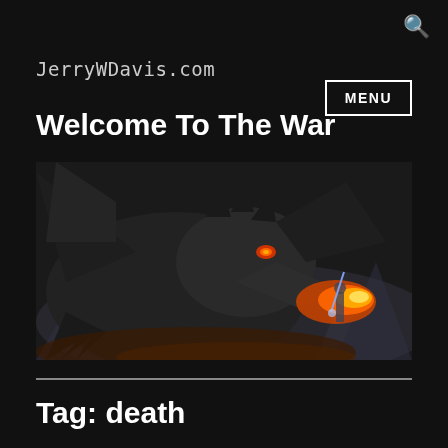JerryWDavis.com
Welcome To The War
[Figure (illustration): Fantasy digital art depicting a large dark dragon with glowing orange eyes and fiery breath facing a warrior figure in a misty mountainous landscape.]
Tag: death